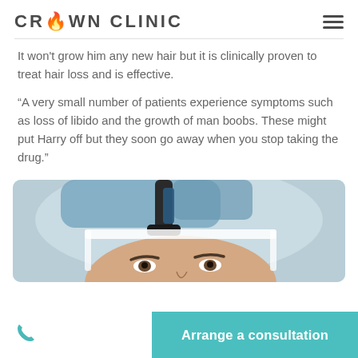CROWN CLINIC
It won't grow him any new hair but it is clinically proven to treat hair loss and is effective.
“A very small number of patients experience symptoms such as loss of libido and the growth of man boobs. These might put Harry off but they soon go away when you stop taking the drug.”
[Figure (photo): Close-up photo of a man's face with a medical hair transplant device or surgical tool positioned over his forehead, with blue surgical cap/drape visible.]
Arrange a consultation